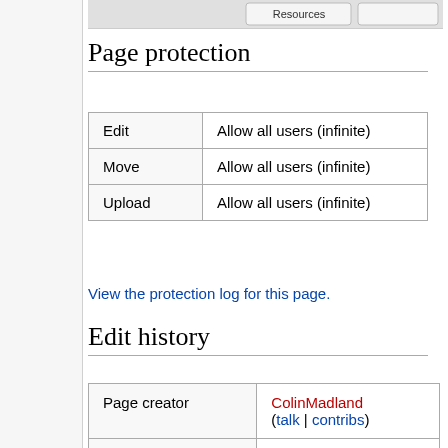[Figure (screenshot): Cropped screenshot strip at top of page showing Wikipedia interface elements including Resources tab]
Page protection
| Edit | Allow all users (infinite) |
| Move | Allow all users (infinite) |
| Upload | Allow all users (infinite) |
View the protection log for this page.
Edit history
| Page creator | ColinMadland (talk | contribs) |
| Date of page creation | 13:32, 29 February 2016 |
| Latest editor | ColinMadland (talk | contribs) |
| Date of latest edit | 13:32, 29 |